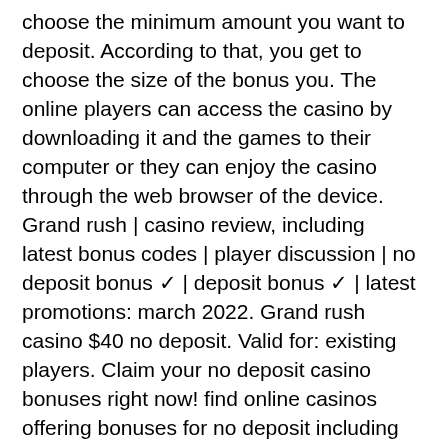choose the minimum amount you want to deposit. According to that, you get to choose the size of the bonus you. The online players can access the casino by downloading it and the games to their computer or they can enjoy the casino through the web browser of the device. Grand rush | casino review, including latest bonus codes | player discussion | no deposit bonus ✓ | deposit bonus ✓ | latest promotions: march 2022. Grand rush casino $40 no deposit. Valid for: existing players. Claim your no deposit casino bonuses right now! find online casinos offering bonuses for no deposit including exclusive no deposit bonuses &amp; bonus codes. By far the most popular casino games for players down under. Latest no deposit codes: current list of no deposit codes for new and depositing casino players only on lcb. Updated daily and player tested - try